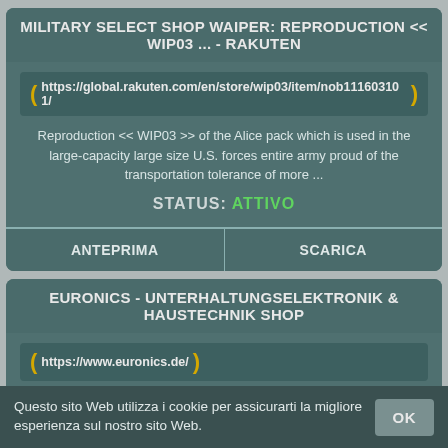MILITARY SELECT SHOP WAIPER: REPRODUCTION &LT;&LT; WIP03 ... - RAKUTEN
https://global.rakuten.com/en/store/wip03/item/nob111603101/
Reproduction << WIP03 >> of the Alice pack which is used in the large-capacity large size U.S. forces entire army proud of the transportation tolerance of more ...
STATUS: ATTIVO
ANTEPRIMA
SCARICA
EURONICS - UNTERHALTUNGSELEKTRONIK & HAUSTECHNIK SHOP
https://www.euronics.de/
Questo sito Web utilizza i cookie per assicurarti la migliore esperienza sul nostro sito Web.
OK